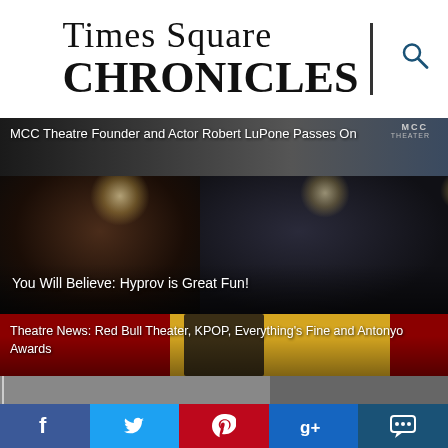Times Square CHRONICLES
[Figure (screenshot): MCC Theatre banner background with dark overlay]
MCC Theatre Founder and Actor Robert LuPone Passes On
[Figure (photo): Two men in formal attire with stage lights in background]
You Will Believe: Hyprov is Great Fun!
[Figure (photo): Man with dreadlocks in front of red and yellow background]
Theatre News: Red Bull Theater, KPOP, Everything's Fine and Antonyo Awards
[Figure (screenshot): Split screen with two older adults in video call settings]
[Figure (infographic): Social media share bar with Facebook, Twitter, Pinterest, Google+, and comment icons]